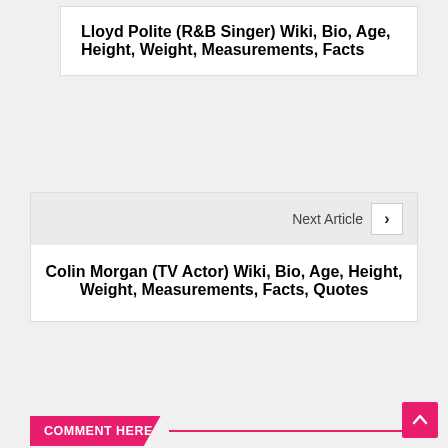Lloyd Polite (R&B Singer) Wiki, Bio, Age, Height, Weight, Measurements, Facts
Next Article
Colin Morgan (TV Actor) Wiki, Bio, Age, Height, Weight, Measurements, Facts, Quotes
COMMENT HERE
Your Comment